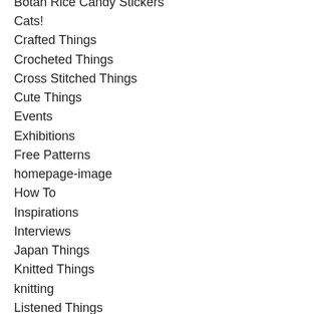Botan Rice Candy Stickers
Cats!
Crafted Things
Crocheted Things
Cross Stitched Things
Cute Things
Events
Exhibitions
Free Patterns
homepage-image
How To
Inspirations
Interviews
Japan Things
Knitted Things
knitting
Listened Things
Mochi Mischief
Mochimochi Friends
Mochimochi Land News